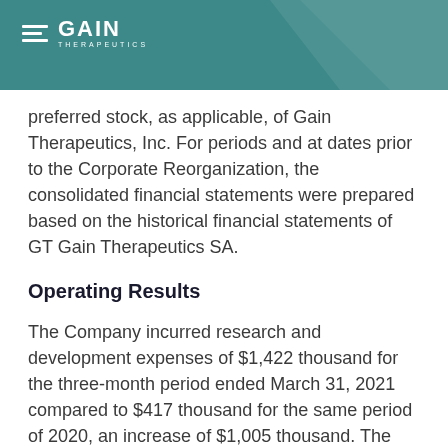GAIN THERAPEUTICS
preferred stock, as applicable, of Gain Therapeutics, Inc. For periods and at dates prior to the Corporate Reorganization, the consolidated financial statements were prepared based on the historical financial statements of GT Gain Therapeutics SA.
Operating Results
The Company incurred research and development expenses of $1,422 thousand for the three-month period ended March 31, 2021 compared to $417 thousand for the same period of 2020, an increase of $1,005 thousand. The